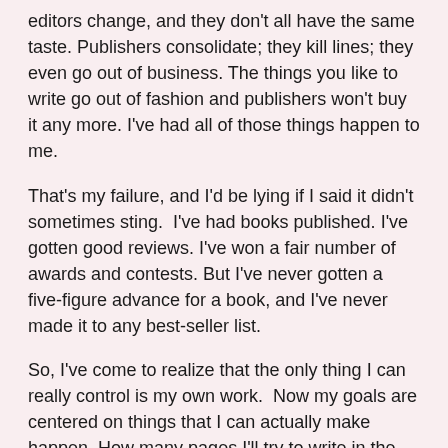editors change, and they don't all have the same taste. Publishers consolidate; they kill lines; they even go out of business. The things you like to write go out of fashion and publishers won't buy it any more. I've had all of those things happen to me.
That's my failure, and I'd be lying if I said it didn't sometimes sting.  I've had books published. I've gotten good reviews. I've won a fair number of awards and contests. But I've never gotten a five-figure advance for a book, and I've never made it to any best-seller list.
So, I've come to realize that the only thing I can really control is my own work.  Now my goals are centered on things that I can actually make happen. How many pages I'll try to write in the next period of time; how many submissions I'll send out; the schedule for releasing my backlist; and doing promo for my books.
Wired for Murder
Most of the time, Heather McNeil loves her job as assistant to the director of the Washington DC Market Show Center.